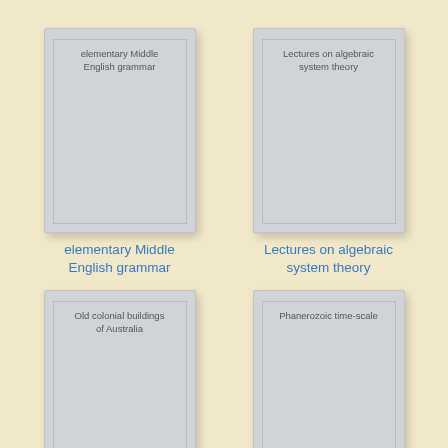[Figure (illustration): Book cover thumbnail showing title 'elementary Middle English grammar' in gray book cover with inner border]
elementary Middle English grammar
[Figure (illustration): Book cover thumbnail showing title 'Lectures on algebraic system theory' in gray book cover with inner border]
Lectures on algebraic system theory
[Figure (illustration): Book cover thumbnail showing title 'Old colonial buildings of Australia' in gray book cover with inner border]
[Figure (illustration): Book cover thumbnail showing title 'Phanerozoic time-scale' in gray book cover with inner border]